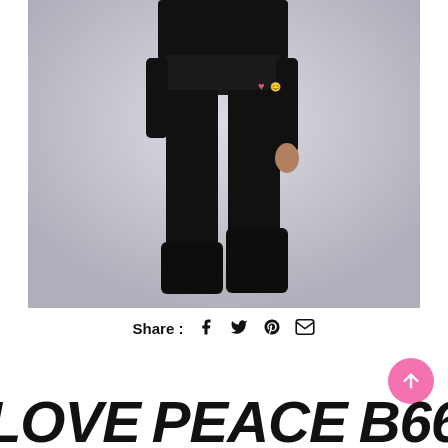[Figure (photo): A person wearing all-black outfit including tight black pants and black boots, standing against a light grey/white background. The figure is cropped to show from waist down, and there appears to be a small heart/emoji graphic on the pants near the hip.]
Share :
[Figure (infographic): Large bold italic stylized text reading: LOVE PEACE B66 in heavy black letters at the bottom of the page]